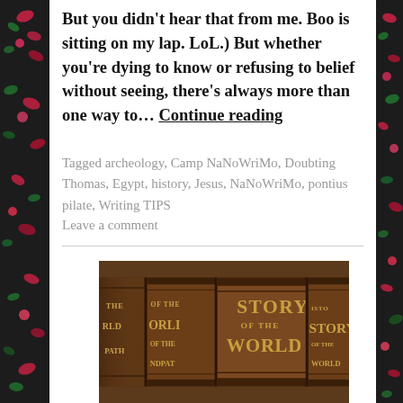But you didn't hear that from me. Boo is sitting on my lap. LoL.) But whether you're dying to know or refusing to belief without seeing, there's always more than one way to… Continue reading
Tagged archeology, Camp NaNoWriMo, Doubting Thomas, Egypt, history, Jesus, NaNoWriMo, pontius pilate, Writing TIPS
Leave a comment
[Figure (photo): Close-up photo of several old brown leather-bound book spines with gold lettering reading 'STORY OF THE WORLD']